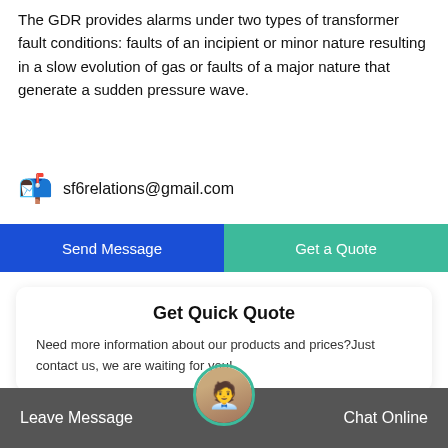The GDR provides alarms under two types of transformer fault conditions: faults of an incipient or minor nature resulting in a slow evolution of gas or faults of a major nature that generate a sudden pressure wave.
sf6relations@gmail.com
Send Message
Get a Quote
Get Quick Quote
Need more information about our products and prices?Just contact us, we are waiting for you!
Leave Message  Chat Online